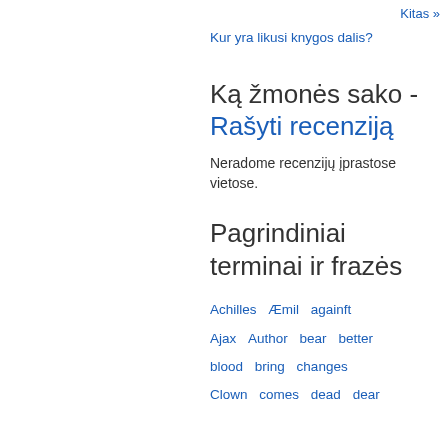Kitas »
Kur yra likusi knygos dalis?
Ką žmonės sako - Rašyti recenziją
Neradome recenzijų įprastose vietose.
Pagrindiniai terminai ir frazės
Achilles  Æmil  againft  Ajax  Author  bear  better  blood  bring  changes  Clown  comes  dead  dear